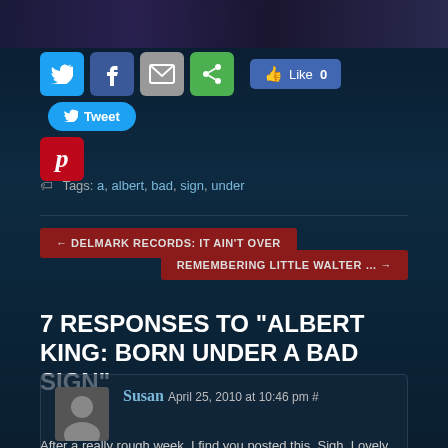[Figure (screenshot): Top dark banner image, partial view of a music-related photo]
[Figure (infographic): Social sharing buttons row: Twitter (blue bird), Facebook (blue f), Email (grey envelope), Share (green), Like 0 button (Facebook blue), Tweet button (Twitter blue with bird icon), and Pinterest (red P) below]
Tags: a, albert, bad, sign, under
← DELMARK RECORDS: IT AIN'T OVER
REMEMBERING LITTLE WALTER … →
7 RESPONSES TO "ALBERT KING: BORN UNDER A BAD SIGN"
Susan April 25, 2010 at 10:46 pm #
After a really rough week, I find you posted this. Sigh. Lovely. Albert King set the standard for the music that so created the person I am now. You showed the beginning — Albert, and